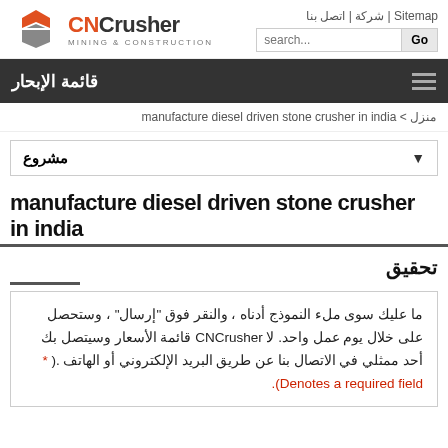[Figure (logo): CNCrusher Mining & Construction logo with geometric hexagon icon in red/orange and grey]
Sitemap | شركة | اتصل بنا
قائمة الإبحار
منزل > manufacture diesel driven stone crusher in india
مشروع ▼
manufacture diesel driven stone crusher in india
تحقيق
ما عليك سوى ملء النموذج أدناه ، والنقر فوق "إرسال" ، وستحصل على خلال يوم عمل واحد. لا CNCrusher قائمة الأسعار وسيتصل بك أحد ممثلي في الاتصال بنا عن طريق البريد الإلكتروني أو الهاتف .( * Denotes a required field).